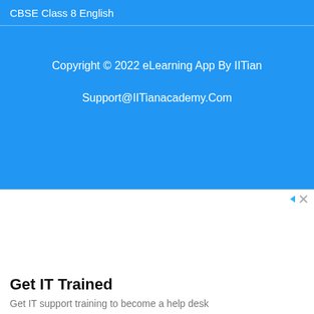CBSE Class 8 English
Copyright © 2022 eLearning App By IITian
Support@IITianacademy.Com
Get IT Trained
Get IT support training to become a help desk